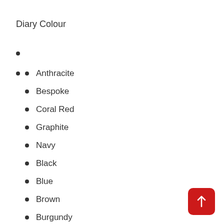Diary Colour
Anthracite
Bespoke
Coral Red
Graphite
Navy
Black
Blue
Brown
Burgundy
Green
Grey